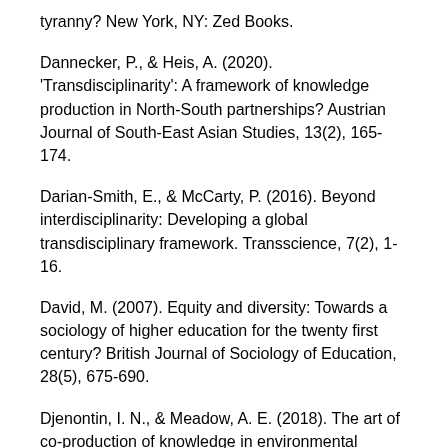tyranny? New York, NY: Zed Books.
Dannecker, P., & Heis, A. (2020). 'Transdisciplinarity': A framework of knowledge production in North-South partnerships? Austrian Journal of South-East Asian Studies, 13(2), 165-174.
Darian-Smith, E., & McCarty, P. (2016). Beyond interdisciplinarity: Developing a global transdisciplinary framework. Transscience, 7(2), 1-16.
David, M. (2007). Equity and diversity: Towards a sociology of higher education for the twenty first century? British Journal of Sociology of Education, 28(5), 675-690.
Djenontin, I. N., & Meadow, A. E. (2018). The art of co-production of knowledge in environmental sciences and management: Lessons from international practice. Environmental Management, 61, 886-903.